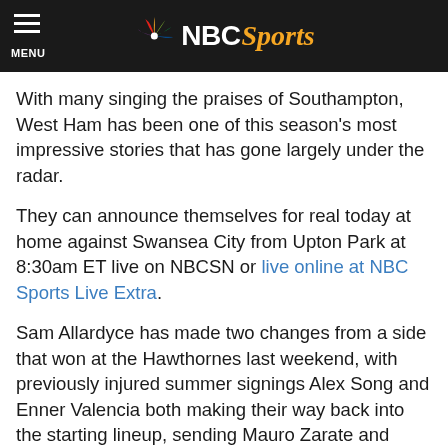NBC Sports
With many singing the praises of Southampton, West Ham has been one of this season's most impressive stories that has gone largely under the radar.
They can announce themselves for real today at home against Swansea City from Upton Park at 8:30am ET live on NBCSN or live online at NBC Sports Live Extra.
Sam Allardyce has made two changes from a side that won at the Hawthornes last weekend, with previously injured summer signings Alex Song and Enner Valencia both making their way back into the starting lineup, sending Mauro Zarate and Morgan Amalfitano both to the bench.
WATCH LIVE : West Ham vs. Swansea City live on NBC Sports Live Extra